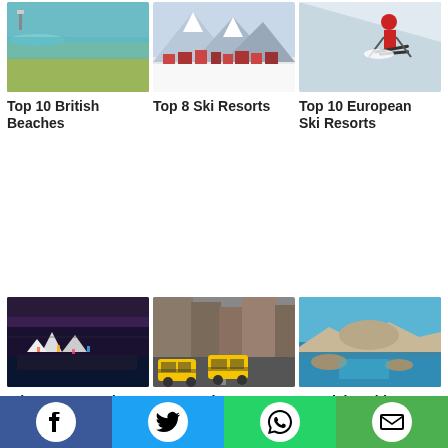[Figure (photo): Aerial view of a British beach coastline with sandy shores and blue water]
Top 10 British Beaches
[Figure (photo): Snow-covered alpine ski resort town with chalet buildings]
Top 8 Ski Resorts
[Figure (photo): Skier in red jacket skiing down a snowy slope]
Top 10 European Ski Resorts
[Figure (photo): Sydney Opera House at dusk with city lights reflected in harbor]
What to See and
[Figure (photo): Yellow taxis on a New York City street with tall buildings]
Top Tourist
[Figure (photo): Rocky coastline with clear blue Mediterranean sea water]
A Quick Guide to